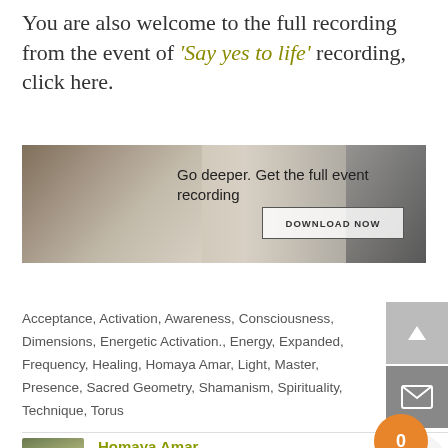You are also welcome to the full recording from the event of 'Say yes to life' recording, click here.
[Figure (infographic): Promotional banner image with decorative objects on left, text 'Go deeper. Get the full event recording' and a 'DOWNLOAD NOW' button in center, and a blurred figure on the right.]
Acceptance, Activation, Awareness, Consciousness, Dimensions, Energetic Activation., Energy, Expanded, Frequency, Healing, Homaya Amar, Light, Master, Presence, Sacred Geometry, Shamanism, Spirituality, Technique, Torus
Homaya Amar
While generating a powerful sacred space, Homaya